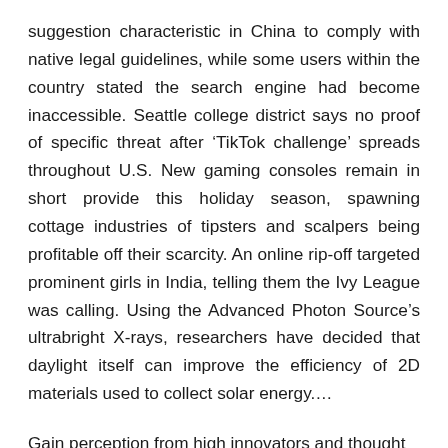suggestion characteristic in China to comply with native legal guidelines, while some users within the country stated the search engine had become inaccessible. Seattle college district says no proof of specific threat after 'TikTok challenge' spreads throughout U.S. New gaming consoles remain in short provide this holiday season, spawning cottage industries of tipsters and scalpers being profitable off their scarcity. An online rip-off targeted prominent girls in India, telling them the Ivy League was calling. Using the Advanced Photon Source's ultrabright X-rays, researchers have decided that daylight itself can improve the efficiency of 2D materials used to collect solar energy.…
Gain perception from high innovators and thought